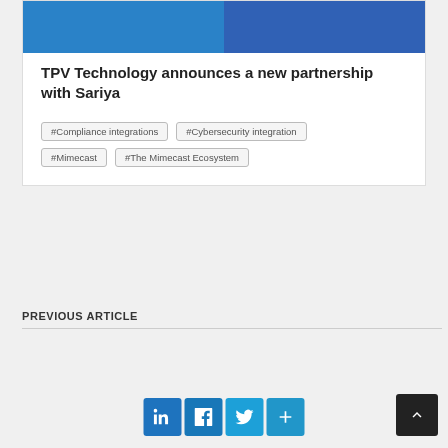[Figure (photo): Two photos side by side — left: person in dark blue suit with arms crossed against blue background; right: person in blue suit against blue background]
TPV Technology announces a new partnership with Sariya
#Compliance integrations
#Cybersecurity integration
#Mimecast
#The Mimecast Ecosystem
PREVIOUS ARTICLE